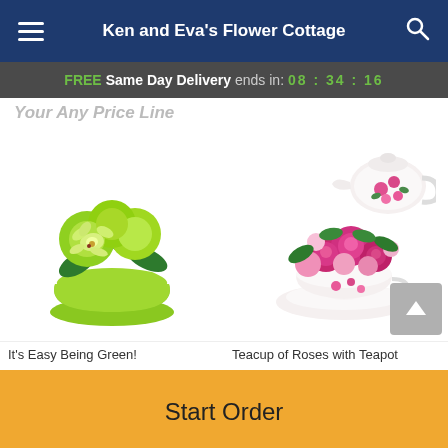Ken and Eva's Flower Cottage
FREE Same Day Delivery ends in: 08 : 34 : 16
It's Easy Being Green! | Teacup of Roses with Teapot
[Figure (photo): Green flower arrangement with orchids and green chrysanthemums in a lime green pot]
[Figure (photo): Pink roses in a teacup with saucer and a floral porcelain teapot]
It's Easy Being Green!
Teacup of Roses with Teapot
Start Order